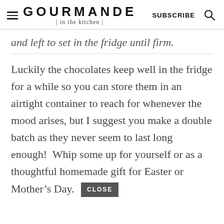GOURMANDE | in the kitchen | SUBSCRIBE
and left to set in the fridge until firm.
Luckily the chocolates keep well in the fridge for a while so you can store them in an airtight container to reach for whenever the mood arises, but I suggest you make a double batch as they never seem to last long enough!  Whip some up for yourself or as a thoughtful homemade gift for Easter or Mother’s Day.